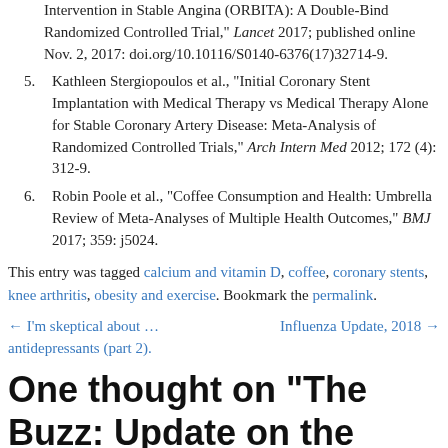continuation of reference: Intervention in Stable Angina (ORBITA): A Double-Bind Randomized Controlled Trial, Lancet 2017; published online Nov. 2, 2017: doi.org/10.10116/S0140-6376(17)32714-9.
5. Kathleen Stergiopoulos et al., "Initial Coronary Stent Implantation with Medical Therapy vs Medical Therapy Alone for Stable Coronary Artery Disease: Meta-Analysis of Randomized Controlled Trials," Arch Intern Med 2012; 172 (4): 312-9.
6. Robin Poole et al., "Coffee Consumption and Health: Umbrella Review of Meta-Analyses of Multiple Health Outcomes," BMJ 2017; 359: j5024.
This entry was tagged calcium and vitamin D, coffee, coronary stents, knee arthritis, obesity and exercise. Bookmark the permalink.
← I'm skeptical about … antidepressants (part 2).    Influenza Update, 2018 →
One thought on "The Buzz: Update on the Recent